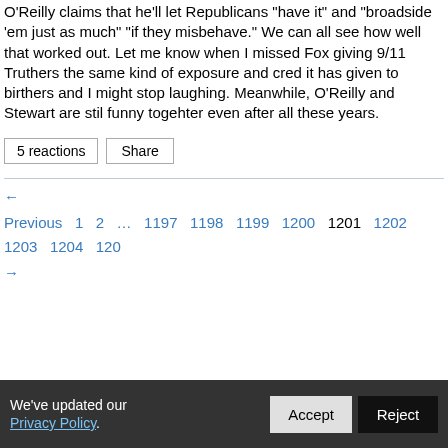Bush's presidency. Stewart confronts O'Reilly about Fox News bias and O'Reilly claims that he'll let Republicans "have it" and "broadside 'em just as much" "if they misbehave." We can all see how well that worked out. Let me know when I missed Fox giving 9/11 Truthers the same kind of exposure and cred it has given to birthers and I might stop laughing. Meanwhile, O'Reilly and Stewart are stil funny togehter even after all these years.
5 reactions   Share
← Previous  1  2  ...  1197  1198  1199  1200  1201  1202  1203  1204  1205  →
We've updated our Privacy Policy.   Accept   Reject